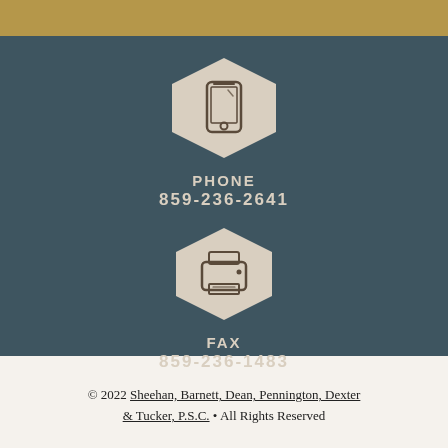[Figure (infographic): Gold decorative bar at top of page]
[Figure (infographic): Hexagon icon with smartphone symbol, label PHONE 859-236-2641, hexagon icon with printer/fax symbol, label FAX 859-236-1483, all on dark teal background]
© 2022 Sheehan, Barnett, Dean, Pennington, Dexter & Tucker, P.S.C. • All Rights Reserved